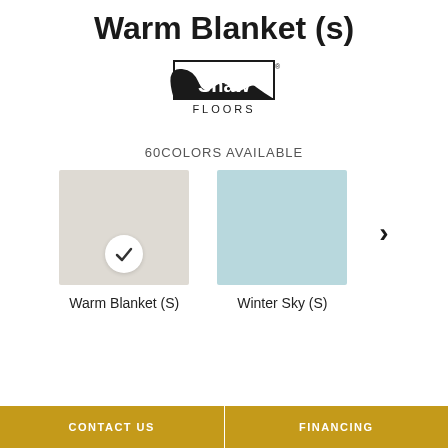Warm Blanket (s)
[Figure (logo): Shaw Floors logo — black stylized wave shape with 'Shaw' text in a box and 'FLOORS' below]
60COLORS AVAILABLE
[Figure (other): Two carpet color swatches: 'Warm Blanket (S)' (beige/gray, selected with checkmark) and 'Winter Sky (S)' (light blue), with a right arrow navigation control]
Warm Blanket (S)
Winter Sky (S)
CONTACT US
FINANCING